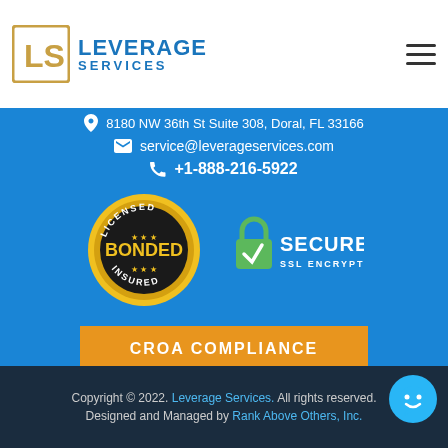Leverage Services
8180 NW 36th St Suite 308, Doral, FL 33166
service@leverageservices.com
+1-888-216-5922
[Figure (logo): Licensed Bonded Insured gold badge seal]
[Figure (logo): Secure SSL Encryption green padlock badge]
CROA COMPLIANCE
Copyright © 2022. Leverage Services. All rights reserved. Designed and Managed by Rank Above Others, Inc.